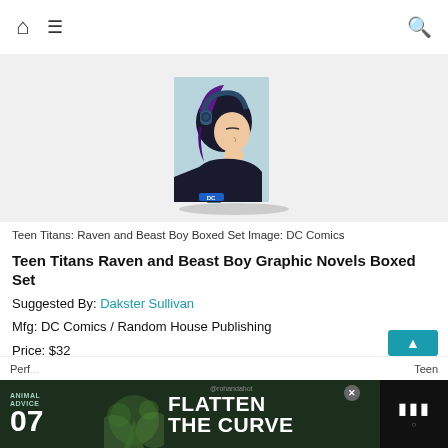Home menu search
[Figure (photo): Teen Titans: Raven and Beast Boy Boxed Set product image showing a box set with graphic novels. Cover features a girl with purple hair wearing headphones, with DC Comics branding.]
Teen Titans: Raven and Beast Boy Boxed Set Image: DC Comics
Teen Titans Raven and Beast Boy Graphic Novels Boxed Set
Suggested By: Dakster Sullivan
Mfg: DC Comics / Random House Publishing
Price: $32
Purchase: Teen Titans Raven and Beast Boy' Graphic Novels Boxed Set
Perf... Teen
[Figure (infographic): Advertisement banner: Animal Advice 07 - Flatten The Curve. Dark green background with decorative botanical illustration and @rohandahot handle. Close button visible.]